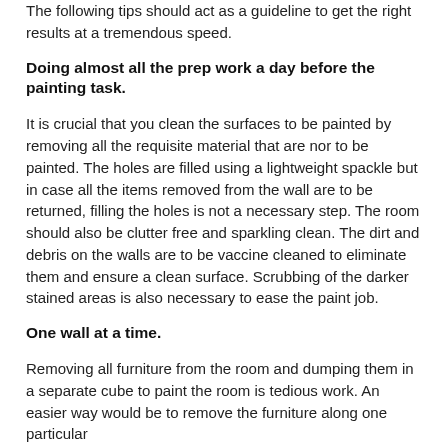The following tips should act as a guideline to get the right results at a tremendous speed.
Doing almost all the prep work a day before the painting task.
It is crucial that you clean the surfaces to be painted by removing all the requisite material that are nor to be painted. The holes are filled using a lightweight spackle but in case all the items removed from the wall are to be returned, filling the holes is not a necessary step. The room should also be clutter free and sparkling clean. The dirt and debris on the walls are to be vaccine cleaned to eliminate them and ensure a clean surface. Scrubbing of the darker stained areas is also necessary to ease the paint job.
One wall at a time.
Removing all furniture from the room and dumping them in a separate cube to paint the room is tedious work. An easier way would be to remove the furniture along one particular